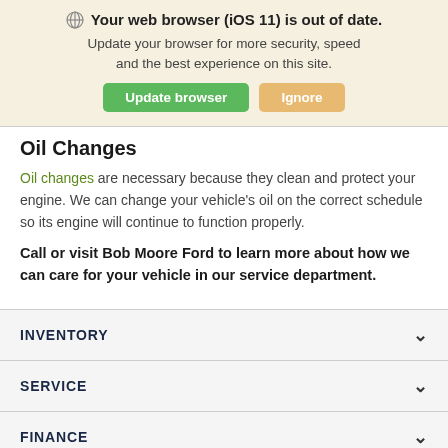Your web browser (iOS 11) is out of date. Update your browser for more security, speed and the best experience on this site.
Oil Changes
Oil changes are necessary because they clean and protect your engine. We can change your vehicle's oil on the correct schedule so its engine will continue to function properly.
Call or visit Bob Moore Ford to learn more about how we can care for your vehicle in our service department.
INVENTORY
SERVICE
FINANCE